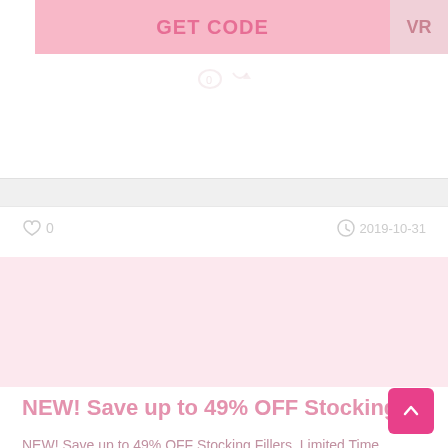[Figure (screenshot): Pink 'GET CODE' button bar with 'VR' label on the right, part of a deals/coupon website UI]
0
[Figure (screenshot): White card section of a deals website showing like count '0', timestamp '2019-10-31', large pink image area, and promotional text for stocking fillers]
2019-10-31
NEW! Save up to 49% OFF Stocking Fil...
NEW! Save up to 49% OFF Stocking Fillers, Limited Time Only, While Stocks... Learn More